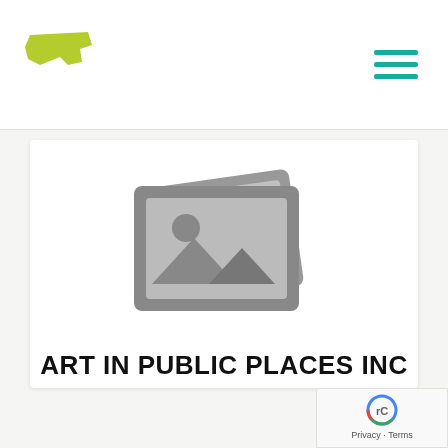[Figure (logo): Oregon Cultural Trust logo — green Oregon state shape with white text 'CULTURAL TRUST']
[Figure (illustration): Generic image placeholder icon: two overlapping photo frames with mountain/sun landscape silhouette in grey]
ART IN PUBLIC PLACES INC